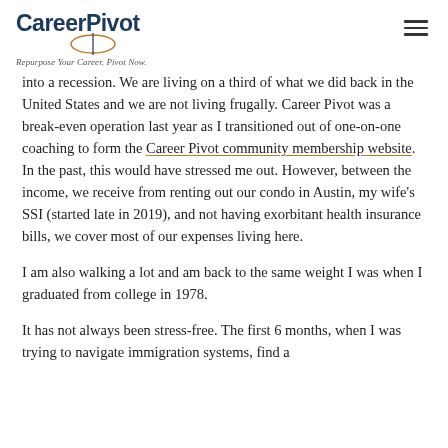CareerPivot — Repurpose Your Career. Pivot Now.
into a recession. We are living on a third of what we did back in the United States and we are not living frugally. Career Pivot was a break-even operation last year as I transitioned out of one-on-one coaching to form the Career Pivot community membership website. In the past, this would have stressed me out. However, between the income, we receive from renting out our condo in Austin, my wife's SSI (started late in 2019), and not having exorbitant health insurance bills, we cover most of our expenses living here.
I am also walking a lot and am back to the same weight I was when I graduated from college in 1978.
It has not always been stress-free. The first 6 months, when I was trying to navigate immigration systems, find a